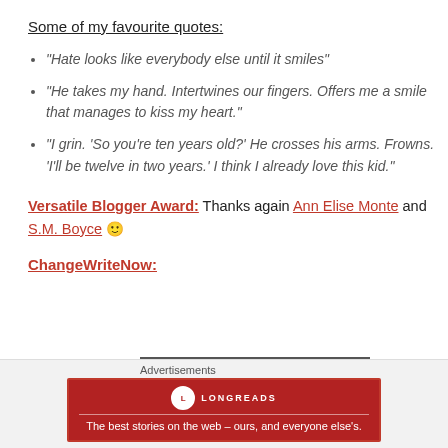Some of my favourite quotes:
“Hate looks like everybody else until it smiles”
“He takes my hand. Intertwines our fingers. Offers me a smile that manages to kiss my heart.”
“I grin. ‘So you’re ten years old?’ He crosses his arms. Frowns. ‘I’ll be twelve in two years.’ I think I already love this kid.”
Versatile Blogger Award: Thanks again Ann Elise Monte and S.M. Boyce 🙂
ChangeWriteNow:
Advertisements
LONGREADS — The best stories on the web – ours, and everyone else’s.